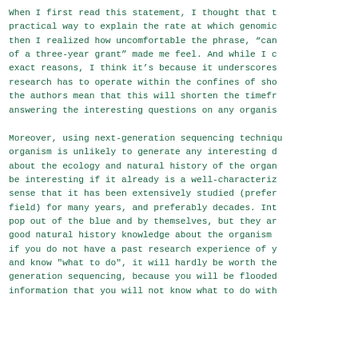When I first read this statement, I thought that t practical way to explain the rate at which genomic then I realized how uncomfortable the phrase, "can of a three-year grant" made me feel. And while I c exact reasons, I think it's because it underscores research has to operate within the confines of sho the authors mean that this will shorten the timefr answering the interesting questions on any organis
Moreover, using next-generation sequencing techniqu organism is unlikely to generate any interesting d about the ecology and natural history of the organ be interesting if it already is a well-characteriz sense that it has been extensively studied (prefer field) for many years, and preferably decades. Int pop out of the blue and by themselves, but they ar good natural history knowledge about the organism if you do not have a past research experience of y and know "what to do", it will hardly be worth the generation sequencing, because you will be flooded information that you will not know what to do with